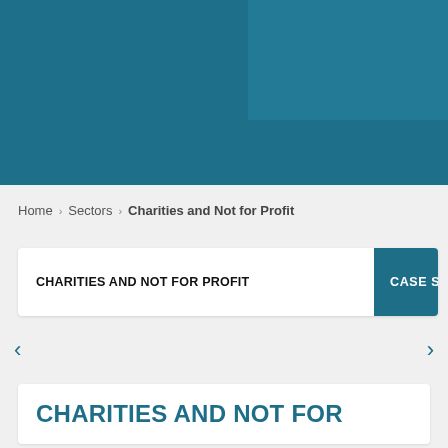[Figure (illustration): Teal/blue banner header image with overlapping rectangle overlay in lighter teal]
Home › Sectors › Charities and Not for Profit
CHARITIES AND NOT FOR PROFIT
CASE ST...
CHARITIES AND NOT FOR